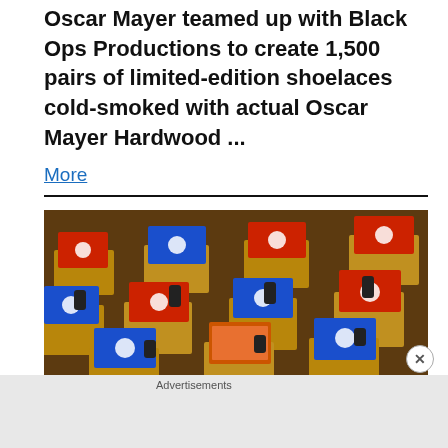Oscar Mayer teamed up with Black Ops Productions to create 1,500 pairs of limited-edition shoelaces cold-smoked with actual Oscar Mayer Hardwood ...
More
[Figure (photo): Classroom with rows of school desks, each topped with red or blue Domino's pizza boxes.]
Advertisements
[Figure (infographic): DuckDuckGo advertisement banner: 'Search, browse, and email with more privacy. All in One Free App' with DuckDuckGo logo on phone.]